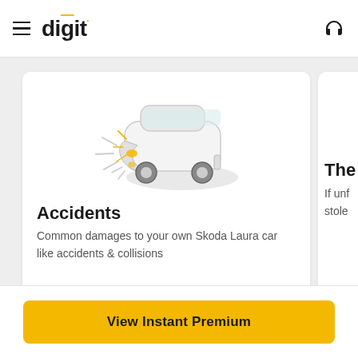digit
[Figure (illustration): Illustration of a white SUV/car involved in a front-end collision, with impact lines suggesting impact. Drawn in a sketch/cartoon style with grey and yellow accents.]
Accidents
Common damages to your own Skoda Laura car like accidents & collisions
The
If unf stolen
View Instant Premium